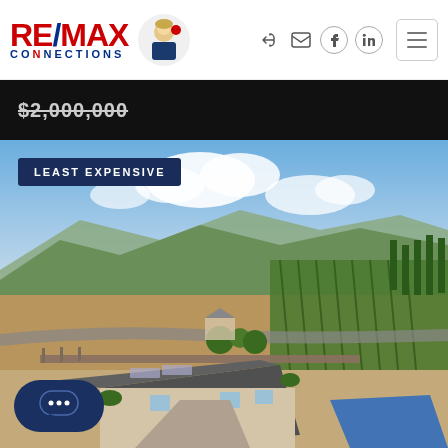[Figure (logo): RE/MAX Connections logo with agent branding]
$2,000,000
[Figure (photo): Aerial photo of residential property with vineyard views, 'LEAST EXPENSIVE' badge overlay]
[Figure (other): Chat button with speech bubble icon]